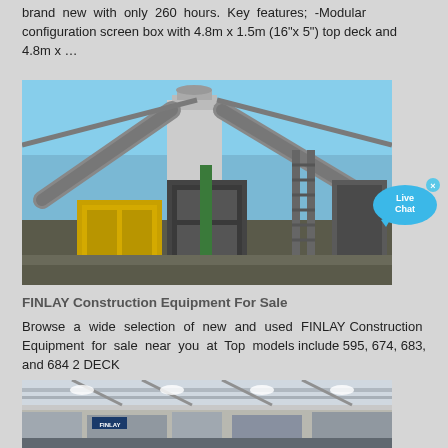brand new with only 260 hours. Key features; -Modular configuration screen box with 4.8m x 1.5m (16"x 5") top deck and 4.8m x …
[Figure (photo): Industrial mining/construction equipment with conveyor belts, silos, and machinery against a blue sky]
[Figure (other): Live Chat speech bubble button in blue]
FINLAY Construction Equipment For Sale
Browse a wide selection of new and used FINLAY Construction Equipment for sale near you at Top models include 595, 674, 683, and 684 2 DECK
[Figure (photo): Interior of an exhibition hall or trade show with displays and booths]